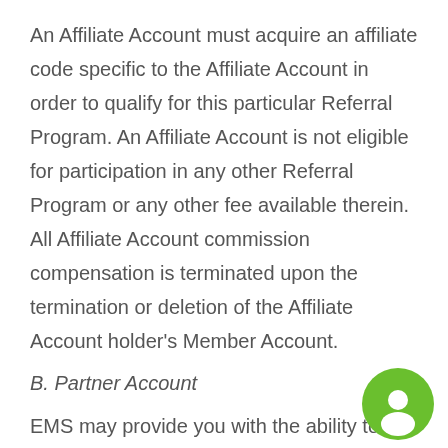An Affiliate Account must acquire an affiliate code specific to the Affiliate Account in order to qualify for this particular Referral Program. An Affiliate Account is not eligible for participation in any other Referral Program or any other fee available therein. All Affiliate Account commission compensation is terminated upon the termination or deletion of the Affiliate Account holder's Member Account.
B. Partner Account
EMS may provide you with the ability to use your Member Account on behalf of other